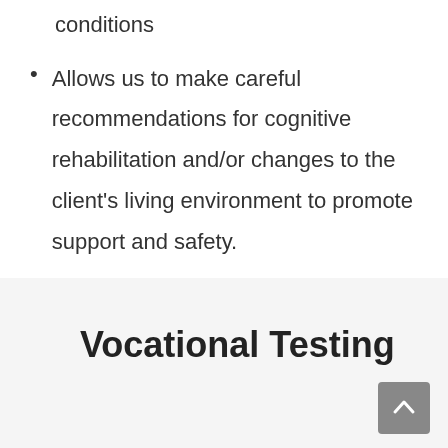conditions
Allows us to make careful recommendations for cognitive rehabilitation and/or changes to the client's living environment to promote support and safety.
Vocational Testing